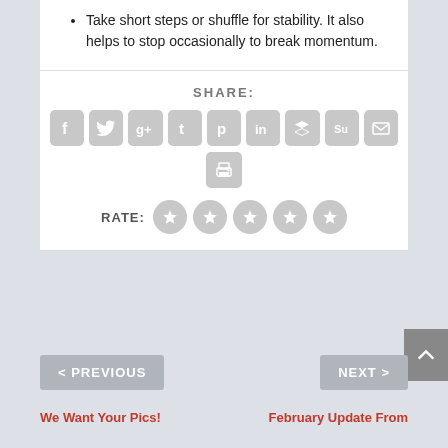Take short steps or shuffle for stability. It also helps to stop occasionally to break momentum.
SHARE:
[Figure (other): Social sharing icons row: Facebook, Twitter, Google+, Tumblr, Pinterest, LinkedIn, Buffer, StumbleUpon, Email, and a Print icon below]
RATE:
[Figure (other): Five grey star rating circles]
< PREVIOUS
NEXT >
We Want Your Pics!
February Update From